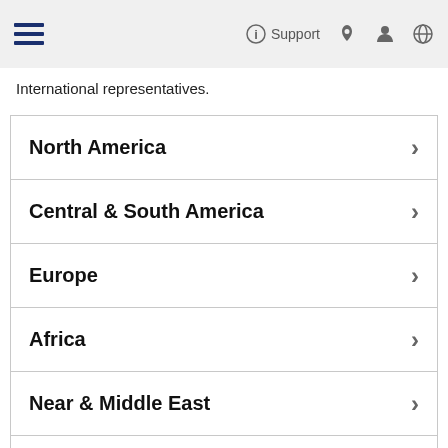☰  ⓘ Support  👤  🔍  🌐
International representatives.
North America
Central & South America
Europe
Africa
Near & Middle East
Asia